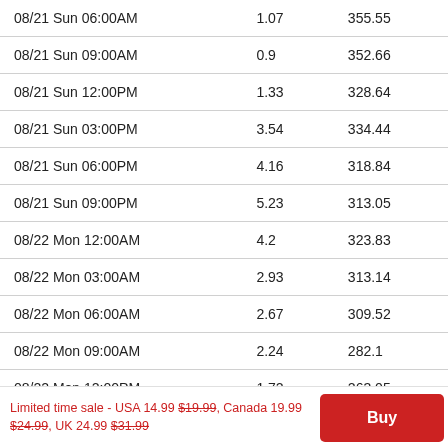| Date/Time | Col2 | Col3 |
| --- | --- | --- |
| 08/21 Sun 06:00AM | 1.07 | 355.55 |
| 08/21 Sun 09:00AM | 0.9 | 352.66 |
| 08/21 Sun 12:00PM | 1.33 | 328.64 |
| 08/21 Sun 03:00PM | 3.54 | 334.44 |
| 08/21 Sun 06:00PM | 4.16 | 318.84 |
| 08/21 Sun 09:00PM | 5.23 | 313.05 |
| 08/22 Mon 12:00AM | 4.2 | 323.83 |
| 08/22 Mon 03:00AM | 2.93 | 313.14 |
| 08/22 Mon 06:00AM | 2.67 | 309.52 |
| 08/22 Mon 09:00AM | 2.24 | 282.1 |
| 08/22 Mon 12:00PM | 1.72 | 263.05 |
| 08/22 Mon 03:00PM | 2.72 | 303.92 |
| 08/22 Mon 06:00PM | 2.61 | 1.6 |
Limited time sale - USA 14.99 $19.99, Canada 19.99 $24.99, UK 24.99 $31.99